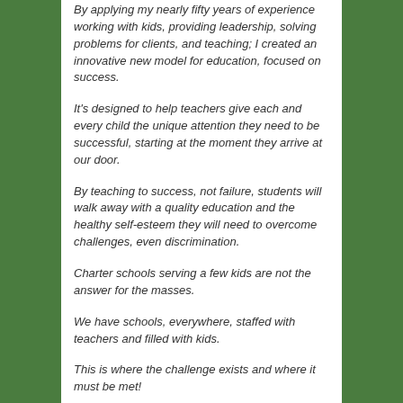By applying my nearly fifty years of experience working with kids, providing leadership, solving problems for clients, and teaching; I created an innovative new model for education, focused on success.
It's designed to help teachers give each and every child the unique attention they need to be successful, starting at the moment they arrive at our door.
By teaching to success, not failure, students will walk away with a quality education and the healthy self-esteem they will need to overcome challenges, even discrimination.
Charter schools serving a few kids are not the answer for the masses.
We have schools, everywhere, staffed with teachers and filled with kids.
This is where the challenge exists and where it must be met!